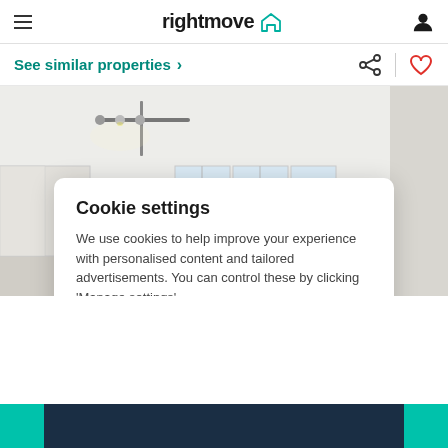rightmove
See similar properties
[Figure (photo): Interior photo of a bright room with track lighting on the ceiling, white walls, a window with multiple panes, and white shelving/wardrobe units.]
Cookie settings
We use cookies to help improve your experience with personalised content and tailored advertisements. You can control these by clicking 'Manage settings'.
Manage settings